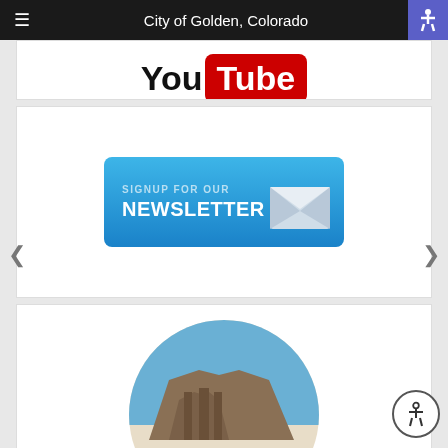City of Golden, Colorado
[Figure (logo): YouTube logo, partially cropped at top]
[Figure (infographic): Blue newsletter signup button with envelope icon reading SIGNUP FOR OUR NEWSLETTER]
[Figure (logo): Guiding Golden circular logo with mountain mesa illustration, partially visible at bottom]